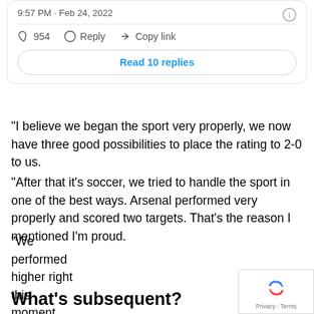[Figure (screenshot): Tweet card showing timestamp 9:57 PM · Feb 24, 2022 with like count 954, Reply, Copy link actions and Read 10 replies button]
“I believe we began the sport very properly, we now have three good possibilities to place the rating to 2-0 to us.
“After that it’s soccer, we tried to handle the sport in one of the best ways. Arsenal performed very properly and scored two targets. That’s the reason I mentioned I’m proud.
“We performed higher right this moment than we did in opposition to Leicester – however that is soccer, we do not win any factors right this moment.”
What’s subsequent?
[Figure (logo): reCAPTCHA badge with Privacy and Terms text]